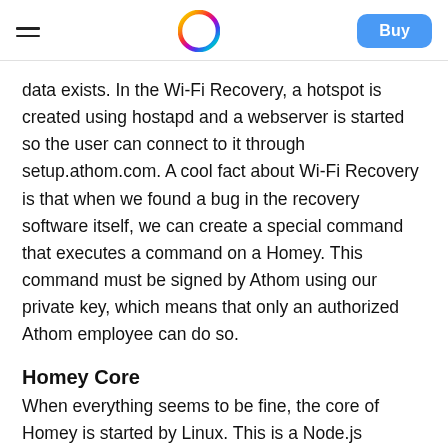Buy
data exists. In the Wi-Fi Recovery, a hotspot is created using hostapd and a webserver is started so the user can connect to it through setup.athom.com. A cool fact about Wi-Fi Recovery is that when we found a bug in the recovery software itself, we can create a special command that executes a command on a Homey. This command must be signed by Athom using our private key, which means that only an authorized Athom employee can do so.
Homey Core
When everything seems to be fine, the core of Homey is started by Linux. This is a Node.js application, which means that it's written mostly JavaScript.